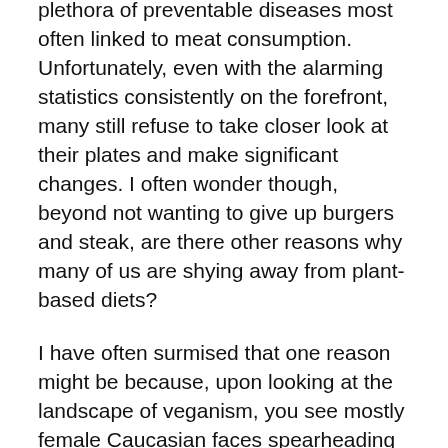plethora of preventable diseases most often linked to meat consumption. Unfortunately, even with the alarming statistics consistently on the forefront, many still refuse to take closer look at their plates and make significant changes. I often wonder though, beyond not wanting to give up burgers and steak, are there other reasons why many of us are shying away from plant-based diets?
I have often surmised that one reason might be because, upon looking at the landscape of veganism, you see mostly female Caucasian faces spearheading the movement, thus perhaps making it undesirable or instilling a feeling of this sort of lifestyle being “not for us.”